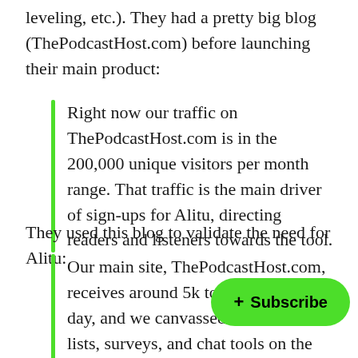leveling, etc.). They had a pretty big blog (ThePodcastHost.com) before launching their main product:
Right now our traffic on ThePodcastHost.com is in the 200,000 unique visitors per month range. That traffic is the main driver of sign-ups for Alitu, directing readers and listeners towards the tool.
They used this blog to validate the need for Alitu:
Our main site, ThePodcastHost.com, receives around 5k to 6k users per day, and we canvassed them via email lists, surveys, and chat tools on the site. We asked as many people as possible—what are you struggling with? And, like I s mentioned editing and production barrier. Either they can't learn the technology or they